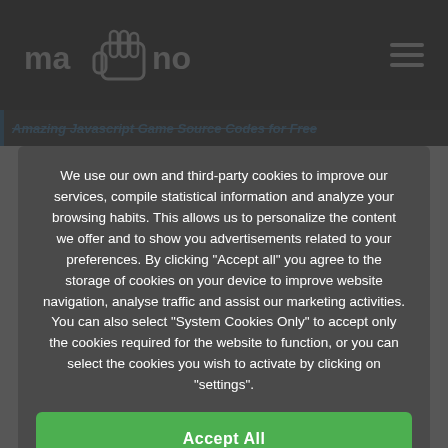[Figure (screenshot): Navigation bar with ma[hand icon]no logo on left and hamburger menu icon on right, dark background]
Amazing Javascript Game Source Codes for Free
We use our own and third-party cookies to improve our services, compile statistical information and analyze your browsing habits. This allows us to personalize the content we offer and to show you advertisements related to your preferences. By clicking "Accept all" you agree to the storage of cookies on your device to improve website navigation, analyse traffic and assist our marketing activities. You can also select "System Cookies Only" to accept only the cookies required for the website to function, or you can select the cookies you wish to activate by clicking on "settings".
Accept All
Only sistem cookies
Configuration